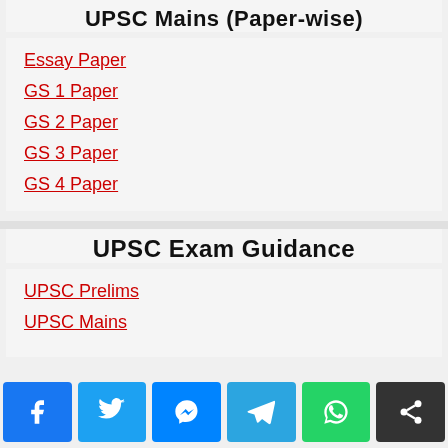UPSC Mains (Paper-wise)
Essay Paper
GS 1 Paper
GS 2 Paper
GS 3 Paper
GS 4 Paper
UPSC Exam Guidance
UPSC Prelims
UPSC Mains
[Figure (infographic): Social share buttons: Facebook, Twitter, Messenger, Telegram, WhatsApp, Share]